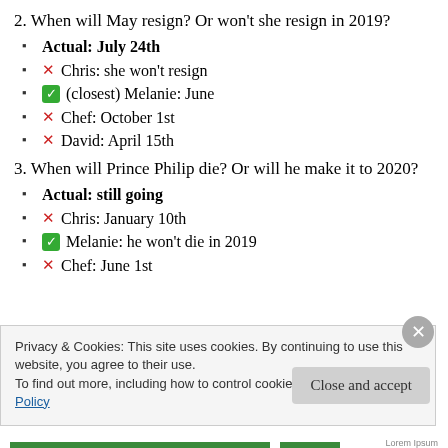2. When will May resign? Or won't she resign in 2019?
Actual: July 24th
✗ Chris: she won't resign
✓ (closest) Melanie: June
✗ Chef: October 1st
✗ David: April 15th
3. When will Prince Philip die? Or will he make it to 2020?
Actual: still going
✗ Chris: January 10th
✓ Melanie: he won't die in 2019
✗ Chef: June 1st
Privacy & Cookies: This site uses cookies. By continuing to use this website, you agree to their use. To find out more, including how to control cookies, see here: Cookie Policy
Close and accept